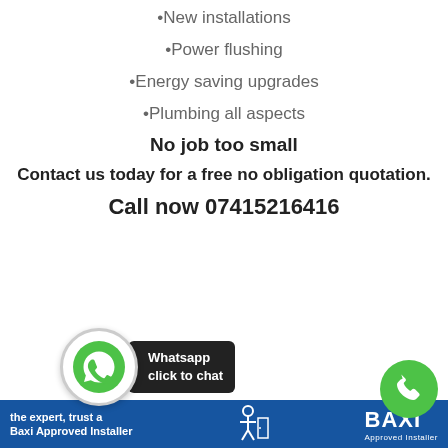New installations
Power flushing
Energy saving upgrades
Plumbing all aspects
No job too small
Contact us today for a free no obligation quotation.
Call now 07415216416
[Figure (logo): Whatsapp click to chat bubble logo with green phone icon and black label saying 'Whatsapp click to chat'. Below: blue banner with 'the expert, trust a Baxi Approved Installer' text, person icon, BAXI logo, and a green phone circle on the right.]